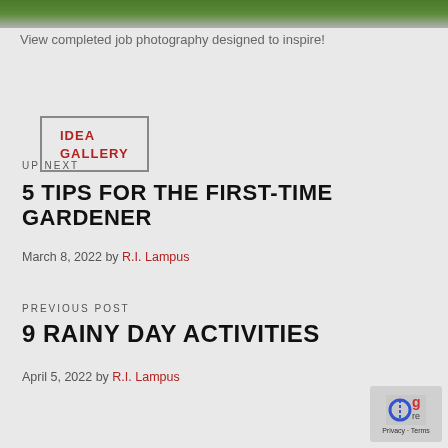[Figure (photo): Partial view of a completed landscaping job, showing grass and pathway, cropped at the top of the page.]
View completed job photography designed to inspire!
IDEA GALLERY
UP NEXT
5 TIPS FOR THE FIRST-TIME GARDENER
March 8, 2022 by R.I. Lampus
PREVIOUS POST
9 RAINY DAY ACTIVITIES
April 5, 2022 by R.I. Lampus
[Figure (other): reCAPTCHA badge with Privacy and Terms links]